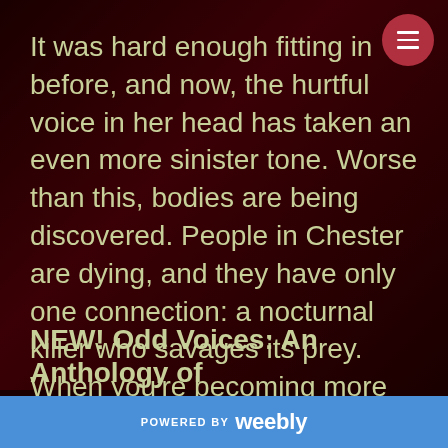It was hard enough fitting in before, and now, the hurtful voice in her head has taken an even more sinister tone. Worse than this, bodies are being discovered. People in Chester are dying, and they have only one connection: a nocturnal killer who savages its prey. When you're becoming more demonic by the day, it's what's on the inside that counts.
NEW! Odd Voices: An Anthology of
POWERED BY weebly